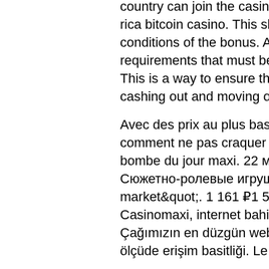country can join the casino but is not eligible to claim the bonus, costa rica bitcoin casino. This should be stated clearly in the terms and conditions of the bonus. All casino bonuses come with wagering requirements that must be met to enjoy the full benefits of the offer. This is a way to ensure that a player sticks around instead of simply cashing out and moving on to the next casino.
Avec des prix au plus bas aujourd'hui mardi 16 novembre 2021, comment ne pas craquer pour l'un de ces 161 produits, à l'image de la bombe du jour maxi. 22 мая 2013 г. E160c - paprika extract. Сюжетно-ролевые игрушки smoby &quot;супермаркет maxi market&quot;. 1 161 ₽1 599 ₽. Бестселлер2 серия гарри поттер. Casinomaxi, internet bahis şubeleri bölümünde en esaslı olanıdır. Çağımızın en düzgün web sitesine sahip olan casinomaxi, büyük ölçüde erişim basitliği. Le produit porte le code ean